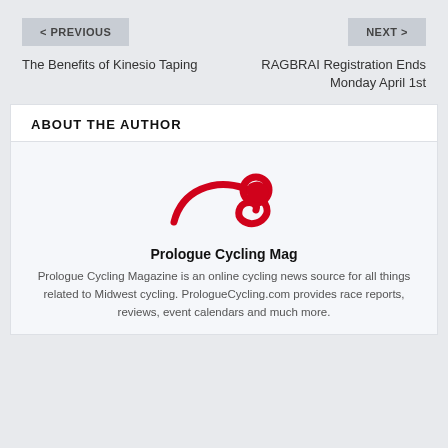< PREVIOUS
NEXT >
The Benefits of Kinesio Taping
RAGBRAI Registration Ends Monday April 1st
ABOUT THE AUTHOR
[Figure (logo): Prologue Cycling Mag red stylized logo mark]
Prologue Cycling Mag
Prologue Cycling Magazine is an online cycling news source for all things related to Midwest cycling. PrologueCycling.com provides race reports, reviews, event calendars and much more.